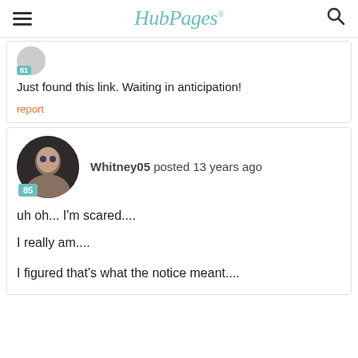HubPages
Just found this link. Waiting in anticipation!
report
Whitney05 posted 13 years ago
uh oh... I'm scared....
I really am....
I figured that's what the notice meant....